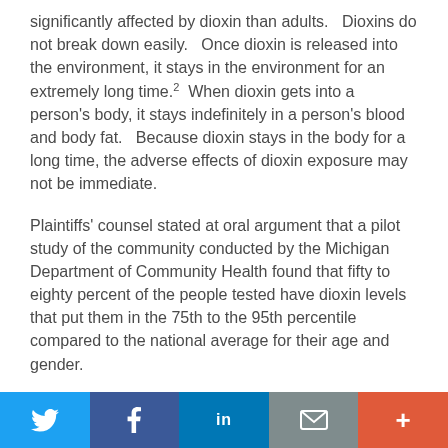significantly affected by dioxin than adults.   Dioxins do not break down easily.   Once dioxin is released into the environment, it stays in the environment for an extremely long time.2  When dioxin gets into a person's body, it stays indefinitely in a person's blood and body fat.   Because dioxin stays in the body for a long time, the adverse effects of dioxin exposure may not be immediate.
Plaintiffs' counsel stated at oral argument that a pilot study of the community conducted by the Michigan Department of Community Health found that fifty to eighty percent of the people tested have dioxin levels that put them in the 75th to the 95th percentile compared to the national average for their age and gender.
II.   PLAINTIFFS' CLAIM FOR MEDICAL MONITORING WARRANTS EQUITABLE RELIEF